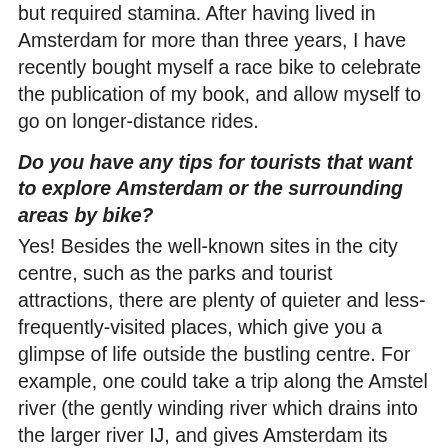but required stamina. After having lived in Amsterdam for more than three years, I have recently bought myself a race bike to celebrate the publication of my book, and allow myself to go on longer-distance rides.
Do you have any tips for tourists that want to explore Amsterdam or the surrounding areas by bike?
Yes! Besides the well-known sites in the city centre, such as the parks and tourist attractions, there are plenty of quieter and less-frequently-visited places, which give you a glimpse of life outside the bustling centre. For example, one could take a trip along the Amstel river (the gently winding river which drains into the larger river IJ, and gives Amsterdam its name), and visit the lovely old town of Oude Kerk. If you follow the IJ river, heading towards the east, you will reach the town of Muiden, with a castle, and could take a boat to visit the old fort island, Pampus. If you take the IJ ferry across to the north of Amsterdam, there are numerous scenic cycle routes through the countryside, with charming villages such as Holysloot, or Broek in Waterland, which are suitable for an excursion outside the city. [Editor's note: For cycle